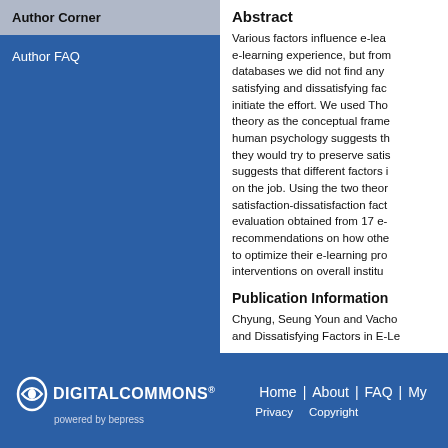Author Corner
Author FAQ
Abstract
Various factors influence e-learning experience, but from databases we did not find any satisfying and dissatisfying factors to initiate the effort. We used Thorndike's theory as the conceptual framework. human psychology suggests that they would try to preserve satisfaction. suggests that different factors influence on the job. Using the two theories, satisfaction-dissatisfaction factors from evaluation obtained from 17 e-recommendations on how other to optimize their e-learning pro interventions on overall institu
Publication Information
Chyung, Seung Youn and Vachor and Dissatisfying Factors in E-Le
Home | About | FAQ | My Privacy Copyright